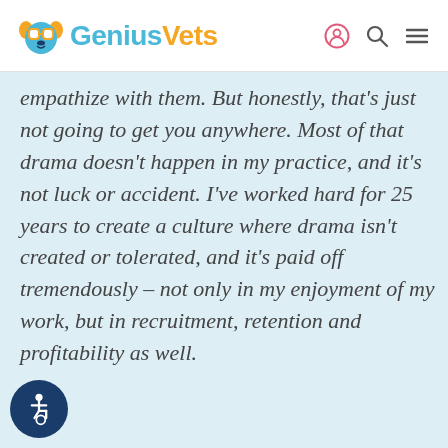GeniusVets
empathize with them. But honestly, that's just not going to get you anywhere. Most of that drama doesn’t happen in my practice, and it’s not luck or accident. I’ve worked hard for 25 years to create a culture where drama isn’t created or tolerated, and it’s paid off tremendously – not only in my enjoyment of my work, but in recruitment, retention and profitability as well.